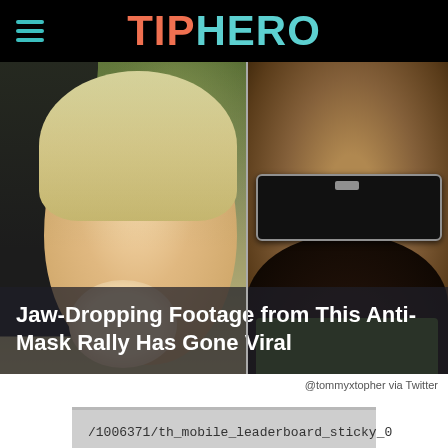TIPHERO
[Figure (photo): Two-panel image: left panel shows a blonde woman with a baby and a man in a dark shirt at what appears to be an outdoor rally; right panel shows a close-up of a bearded man wearing aviator sunglasses. White bold text overlay reads: Jaw-Dropping Footage from This Anti-Mask Rally Has Gone Viral]
@tommyxtopher via Twitter
/1006371/th_mobile_leaderboard_sticky_0